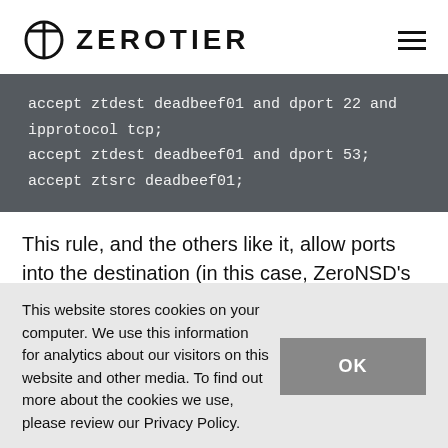ZEROTIER
accept ztdest deadbeef01 and dport 22 and ipprotocol tcp;
accept ztdest deadbeef01 and dport 53;
accept ztsrc deadbeef01;
This rule, and the others like it, allow ports into the destination (in this case, ZeroNSD's host) and allow traffic to exit that destination to the hosts that request
This website stores cookies on your computer. We use this information for analytics about our visitors on this website and other media. To find out more about the cookies we use, please review our Privacy Policy.